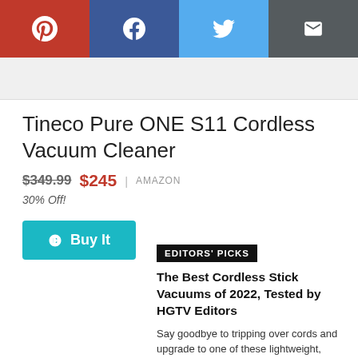[Figure (other): Social sharing bar with Pinterest, Facebook, Twitter, and Email buttons]
Tineco Pure ONE S11 Cordless Vacuum Cleaner
$349.99  $245  |  AMAZON
30% Off!
Buy It
EDITORS' PICKS
The Best Cordless Stick Vacuums of 2022, Tested by HGTV Editors
Say goodbye to tripping over cords and upgrade to one of these lightweight, versatile cordless vacuums that we've tried and loved.